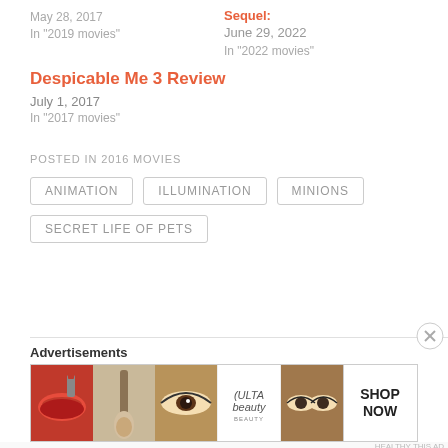May 28, 2017
In "2019 movies"
Sequel:
June 29, 2022
In "2022 movies"
Despicable Me 3 Review
July 1, 2017
In "2017 movies"
POSTED IN 2016 MOVIES
ANIMATION
ILLUMINATION
MINIONS
SECRET LIFE OF PETS
Advertisements
[Figure (photo): Ulta beauty advertisement banner showing makeup imagery including lips, brush, eye, Ulta logo, eyes, and Shop Now text]